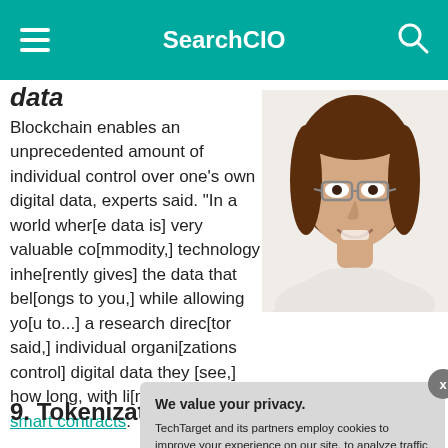SearchCIO
data
Blockchain enables an unprecedented amount of individual control over one's own digital data, experts said. "In a world wher[e data is] very valuable co[mmodity,] technology inhe[rently gives] the data that bel[ongs to you,] while allowing yo[u to...] a research direc[tor said,] individual organi[zations control] digital data they [see,] how long, with li[mitations via] smart contracts.
[Figure (photo): Photo of a smiling woman with long brown hair and glasses, wearing a light-colored top, shown from shoulders up against a white background]
9. Tokenizati[on]
We value your privacy.
TechTarget and its partners employ cookies to improve your experience on our site, to analyze traffic and performance, and to serve personalized content and advertising that are relevant to your professional interests. You can manage your settings at any time. Please view our Privacy Policy for more information